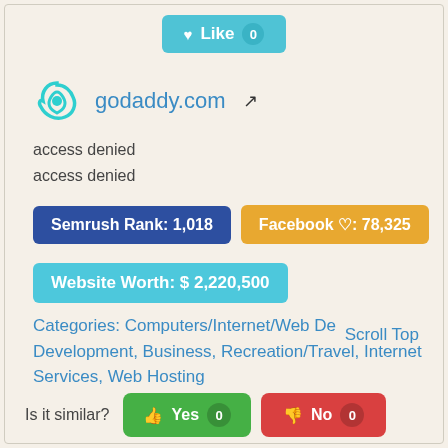[Figure (infographic): Like button with heart icon and count 0, teal/cyan colored]
godaddy.com (with GoDaddy logo and external link icon)
access denied
access denied
Semrush Rank: 1,018
Facebook ♡: 78,325
Website Worth: $ 2,220,500
Categories: Computers/Internet/Web Development, Business, Recreation/Travel, Internet Services, Web Hosting
Scroll Top
Is it similar?
Yes 0
No 0